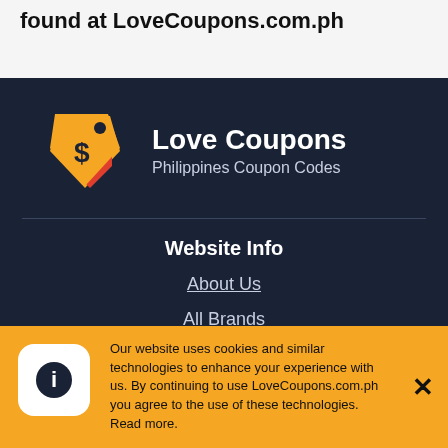found at LoveCoupons.com.ph
[Figure (logo): Love Coupons price tag logo with dollar sign, orange and red]
Love Coupons
Philippines Coupon Codes
Website Info
About Us
All Brands
All Categories
Submit a coupon
Our website uses cookies and similar technologies to enhance your experience with us. By continuing to use LoveCoupons.com.ph you agree to the use of these technologies. Read more.